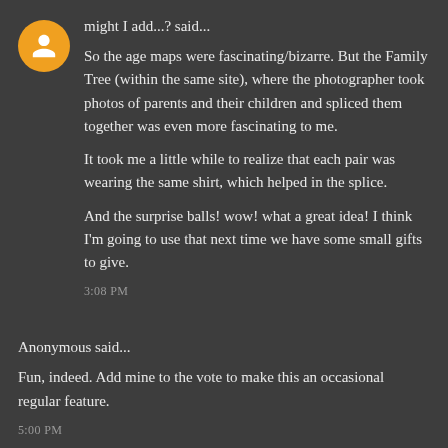might I add...? said...
So the age maps were fascinating/bizarre. But the Family Tree (within the same site), where the photographer took photos of parents and their children and spliced them together was even more fascinating to me.
It took me a little while to realize that each pair was wearing the same shirt, which helped in the splice.
And the surprise balls! wow! what a great idea! I think I'm going to use that next time we have some small gifts to give.
3:08 PM
Anonymous said...
Fun, indeed. Add mine to the vote to make this an occasional regular feature.
5:00 PM